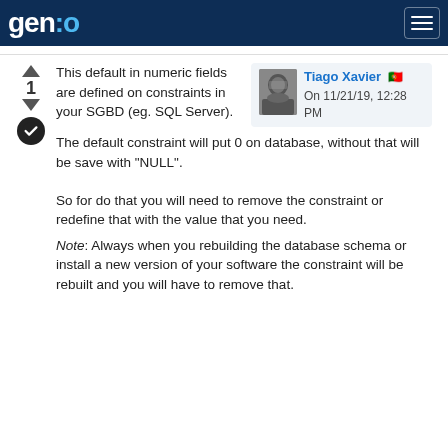gen:o
This default in numeric fields are defined on constraints in your SGBD (eg. SQL Server).
Tiago Xavier
On 11/21/19, 12:28 PM
The default constraint will put 0 on database, without that will be save with "NULL".
So for do that you will need to remove the constraint or redefine that with the value that you need.
Note: Always when you rebuilding the database schema or install a new version of your software the constraint will be rebuilt and you will have to remove that.